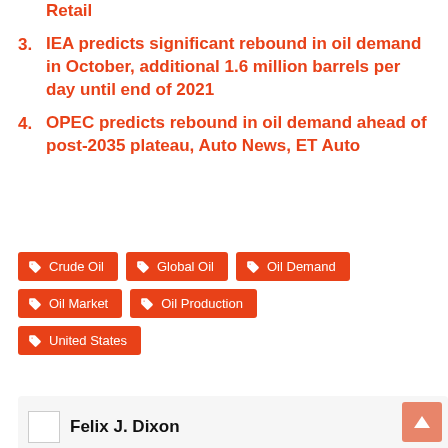Retail
3. IEA predicts significant rebound in oil demand in October, additional 1.6 million barrels per day until end of 2021
4. OPEC predicts rebound in oil demand ahead of post-2035 plateau, Auto News, ET Auto
Tags: Crude Oil, Global Oil, Oil Demand, Oil Market, Oil Production, United States
Felix J. Dixon